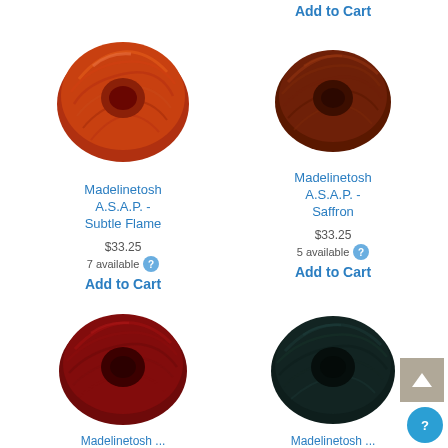Add to Cart
[Figure (photo): Skein of red-orange variegated yarn (Madelinetosh A.S.A.P. - Subtle Flame)]
Madelinetosh A.S.A.P. - Subtle Flame
$33.25
7 available
Add to Cart
[Figure (photo): Skein of dark red-brown yarn (Madelinetosh A.S.A.P. - Saffron)]
Madelinetosh A.S.A.P. - Saffron
$33.25
5 available
Add to Cart
[Figure (photo): Skein of deep red yarn (Madelinetosh A.S.A.P.)]
[Figure (photo): Skein of dark teal/black yarn (Madelinetosh A.S.A.P.)]
Madelinetosh ...
Madelinetosh ...